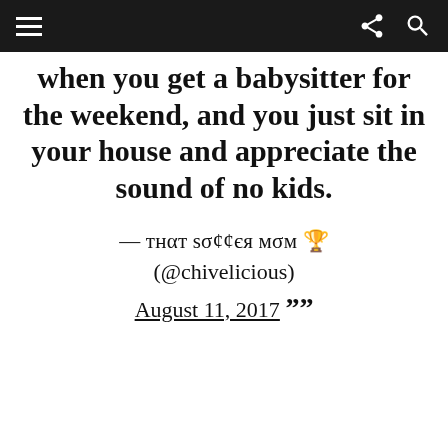≡  [share icon]  [search icon]
when you get a babysitter for the weekend, and you just sit in your house and appreciate the sound of no kids.
— тнαт sσ¢¢єя мσм 🏆 (@chivelicious) August 11, 2017 ❞❞